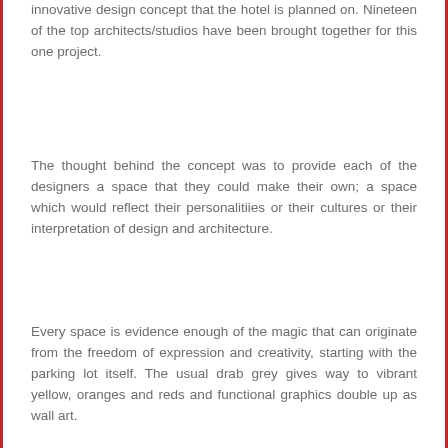innovative design concept that the hotel is planned on. Nineteen of the top architects/studios have been brought together for this one project.
The thought behind the concept was to provide each of the designers a space that they could make their own; a space which would reflect their personalitiies or their cultures or their interpretation of design and architecture.
Every space is evidence enough of the magic that can originate from the freedom of expression and creativity, starting with the parking lot itself. The usual drab grey gives way to vibrant yellow, oranges and reds and functional graphics double up as wall art.
[Figure (photo): Interior photo showing an artistic ceiling mural with cloud-like patterns in dark tones (black, white, blue), corridor below with illuminated panels and decorative walls.]